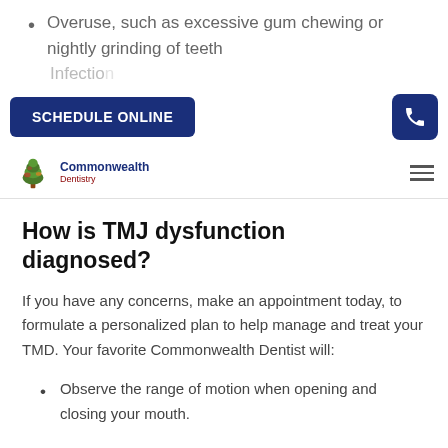Overuse, such as excessive gum chewing or nightly grinding of teeth
[Figure (screenshot): Navigation bar with 'SCHEDULE ONLINE' button and phone icon button, both in dark navy blue]
[Figure (logo): Commonwealth Dentistry logo with tree icon]
How is TMJ dysfunction diagnosed?
If you have any concerns, make an appointment today, to formulate a personalized plan to help manage and treat your TMD. Your favorite Commonwealth Dentist will:
Observe the range of motion when opening and closing your mouth.